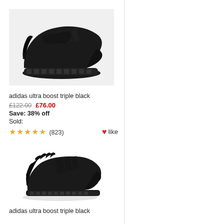[Figure (photo): Adidas Ultra Boost triple black sneaker, side view on light grey background]
adidas ultra boost triple black
£122.00  £76.00
Save: 38% off
Sold:
★★★★★ (823)  ♥like
[Figure (photo): Adidas Ultra Boost triple black sneaker, angled view showing boost sole]
adidas ultra boost triple black